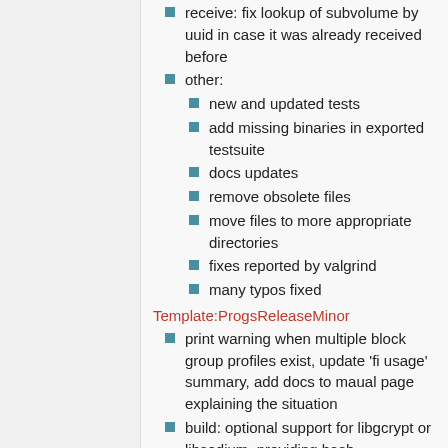receive: fix lookup of subvolume by uuid in case it was already received before
other:
new and updated tests
add missing binaries in exported testsuite
docs updates
remove obsolete files
move files to more appropriate directories
fixes reported by valgrind
many typos fixed
Template:ProgsReleaseMinor
print warning when multiple block group profiles exist, update 'fi usage' summary, add docs to maual page explaining the situation
build: optional support for libgcrypt or libsodium, providing hash implementations
btrfs-progs v5.4 (Dec 2019)
support new hash algorithms (kernel 5.5):